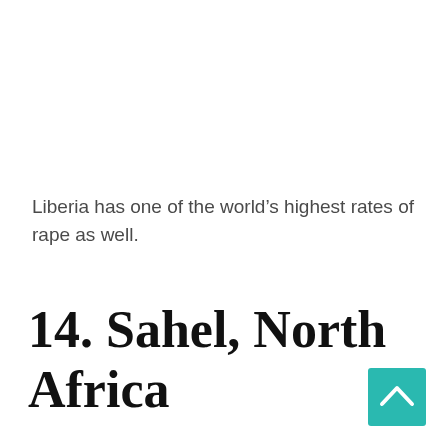Liberia has one of the world’s highest rates of rape as well.
14. Sahel, North Africa
[Figure (other): Teal/turquoise scroll-to-top button with upward caret arrow in bottom-right corner]